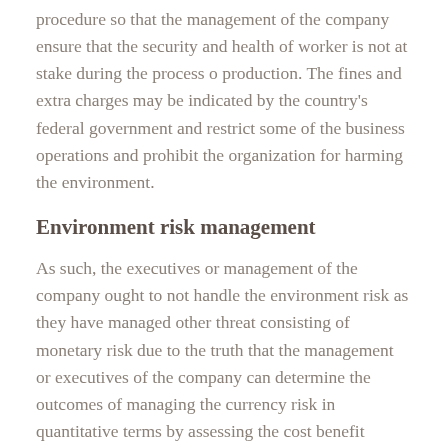procedure so that the management of the company ensure that the security and health of worker is not at stake during the process o production. The fines and extra charges may be indicated by the country's federal government and restrict some of the business operations and prohibit the organization for harming the environment.
Environment risk management
As such, the executives or management of the company ought to not handle the environment risk as they have managed other threat consisting of monetary risk due to the truth that the management or executives of the company can determine the outcomes of managing the currency risk in quantitative terms by assessing the cost benefit analysis. The goal of the management is the